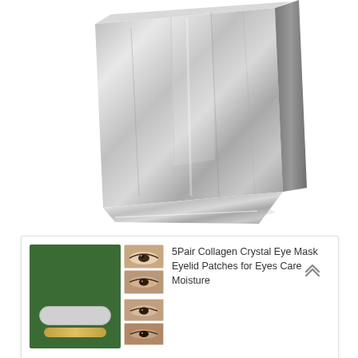[Figure (photo): A metallic silver foil pouch/package photographed against a white background, seen from an angle showing the top and front of the package.]
[Figure (photo): Product card showing 5Pair Collagen Crystal Eye Mask product images: green packaging boxes stacked with white oval eye patches visible, and two close-up photos of a woman's eye area showing application of eye patches.]
5Pair Collagen Crystal Eye Mask Eyelid Patches for Eyes Care Moisture